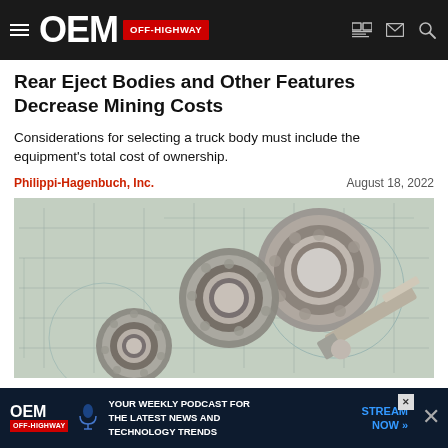OEM OFF-HIGHWAY
Rear Eject Bodies and Other Features Decrease Mining Costs
Considerations for selecting a truck body must include the equipment's total cost of ownership.
Philippi-Hagenbuch, Inc.    August 18, 2022
[Figure (photo): Ball bearings and a micrometer resting on engineering blueprint drawings]
[Figure (infographic): OEM Off-Highway advertisement banner: YOUR WEEKLY PODCAST FOR THE LATEST NEWS AND TECHNOLOGY TRENDS — STREAM NOW]